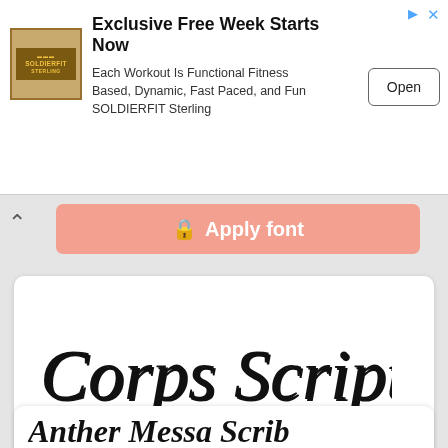[Figure (screenshot): Ad banner for SOLDIERFIT Sterling with logo, headline, body text, and Open button]
Exclusive Free Week Starts Now
Each Workout Is Functional Fitness Based, Dynamic, Fast Paced, and Fun SOLDIERFIT Sterling
Open
[Figure (screenshot): Locked Apply font button with lock icon and chevron up arrow]
🔒 Apply font
[Figure (screenshot): Corps Script font card showing decorative font name in large display, font metadata, and Apply font button]
Corps Script
CoprsScript, en
Apply font